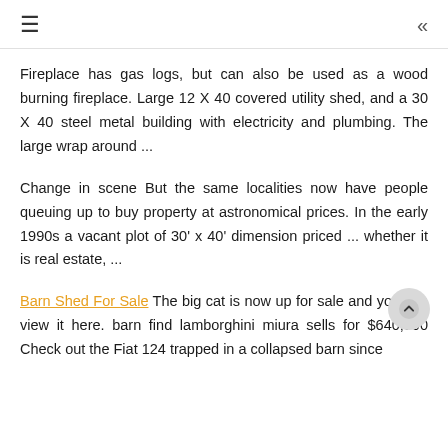≡  «
Fireplace has gas logs, but can also be used as a wood burning fireplace. Large 12 X 40 covered utility shed, and a 30 X 40 steel metal building with electricity and plumbing. The large wrap around ...
Change in scene But the same localities now have people queuing up to buy property at astronomical prices. In the early 1990s a vacant plot of 30' x 40' dimension priced ... whether it is real estate, ...
Barn Shed For Sale The big cat is now up for sale and you can view it here. barn find lamborghini miura sells for $640,000 Check out the Fiat 124 trapped in a collapsed barn since